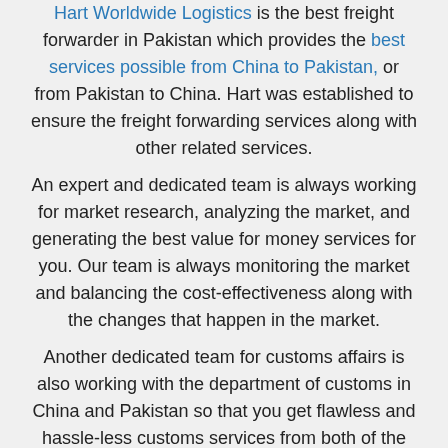Hart Worldwide Logistics is the best freight forwarder in Pakistan which provides the best services possible from China to Pakistan, or from Pakistan to China. Hart was established to ensure the freight forwarding services along with other related services. An expert and dedicated team is always working for market research, analyzing the market, and generating the best value for money services for you. Our team is always monitoring the market and balancing the cost-effectiveness along with the changes that happen in the market. Another dedicated team for customs affairs is also working with the department of customs in China and Pakistan so that you get flawless and hassle-less customs services from both of the countries. On the other hand, Hart has signed agreements with the major shipping lines worldwide to ensure the safest and most secure transportation to your goods from China to Pakistan. Hart has an agreement with ET, CZ, CA, CX, TK, EK, AY, QR like world-class airlines. Also has agreements with Evergreen, CMA-CGM,